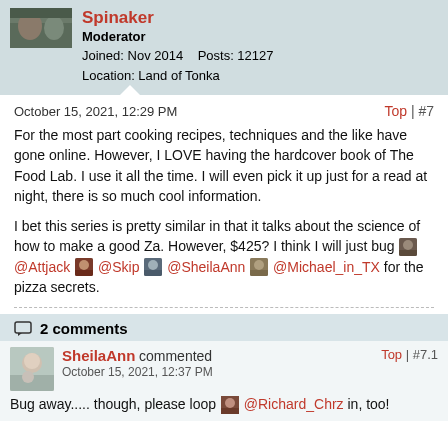[Figure (photo): User avatar photo of Spinaker, partially cropped at top]
Spinaker
Moderator
Joined: Nov 2014    Posts: 12127
Location: Land of Tonka
October 15, 2021, 12:29 PM
Top | #7
For the most part cooking recipes, techniques and the like have gone online. However, I LOVE having the hardcover book of The Food Lab. I use it all the time. I will even pick it up just for a read at night, there is so much cool information.

I bet this series is pretty similar in that it talks about the science of how to make a good Za. However, $425? I think I will just bug @Attjack @Skip @SheilaAnn @Michael_in_TX for the pizza secrets.
2 comments
SheilaAnn commented
Top | #7.1
October 15, 2021, 12:37 PM
Bug away..... though, please loop @Richard_Chrz in, too!